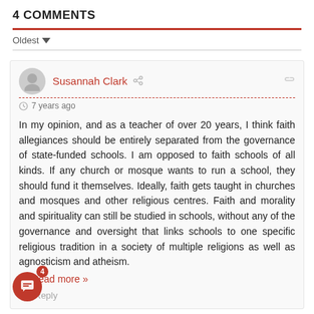4 COMMENTS
Oldest
Susannah Clark  7 years ago
In my opinion, and as a teacher of over 20 years, I think faith allegiances should be entirely separated from the governance of state-funded schools. I am opposed to faith schools of all kinds. If any church or mosque wants to run a school, they should fund it themselves. Ideally, faith gets taught in churches and mosques and other religious centres. Faith and morality and spirituality can still be studied in schools, without any of the governance and oversight that links schools to one specific religious tradition in a society of multiple religions as well as agnosticism and atheism.
Read more »
Reply